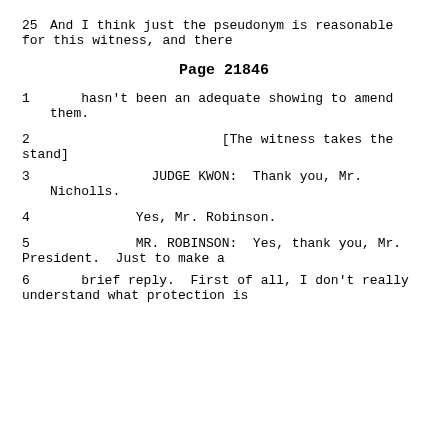25    And I think just the pseudonym is reasonable for this witness, and there
Page 21846
1      hasn't been an adequate showing to amend them.
2                              [The witness takes the stand]
3              JUDGE KWON:  Thank you, Mr. Nicholls.
4              Yes, Mr. Robinson.
5              MR. ROBINSON:  Yes, thank you, Mr. President.  Just to make a
6      brief reply.  First of all, I don't really understand what protection is